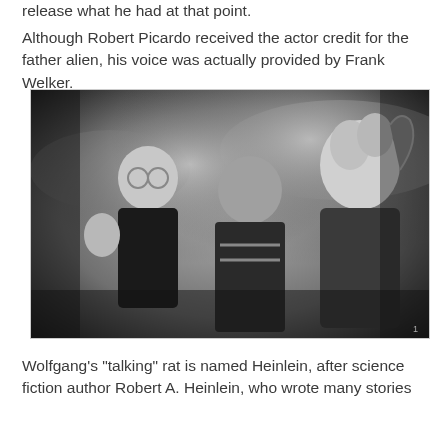release what he had at that point.
Although Robert Picardo received the actor credit for the father alien, his voice was actually provided by Frank Welker.
[Figure (photo): Black and white film still showing three figures: a man in glasses and dark sweater on the left with hand raised, a person in the center in a dark jacket, and a creature/alien costume figure on the right. Scene appears to be from a science fiction film set.]
Wolfgang's "talking" rat is named Heinlein, after science fiction author Robert A. Heinlein, who wrote many stories